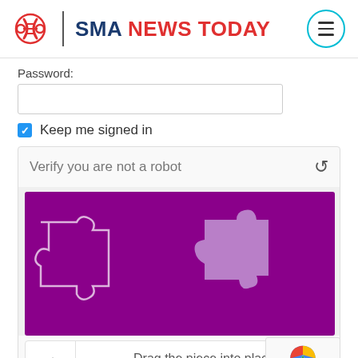[Figure (logo): SMA News Today logo with DNA helix icon, site name, and hamburger menu button]
Password:
[Figure (screenshot): Password input field (empty text box)]
Keep me signed in
[Figure (screenshot): CAPTCHA widget: Verify you are not a robot, with puzzle drag-and-drop interface showing two puzzle pieces on purple background and 'Drag the piece into place' instruction]